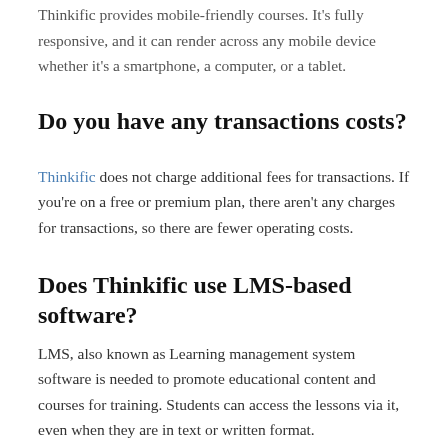Thinkific provides mobile-friendly courses. It's fully responsive, and it can render across any mobile device whether it's a smartphone, a computer, or a tablet.
Do you have any transactions costs?
Thinkific does not charge additional fees for transactions. If you're on a free or premium plan, there aren't any charges for transactions, so there are fewer operating costs.
Does Thinkific use LMS-based software?
LMS, also known as Learning management system software is needed to promote educational content and courses for training. Students can access the lessons via it, even when they are in text or written format.
What are the free plan's limitations?